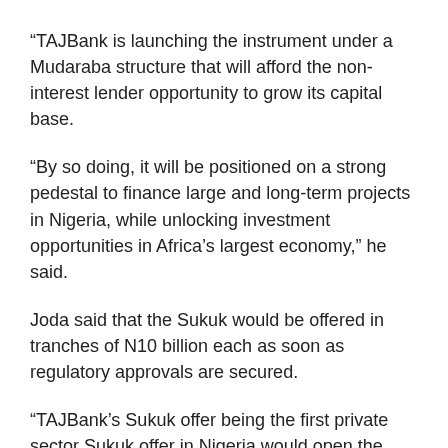“TAJBank is launching the instrument under a Mudaraba structure that will afford the non-interest lender opportunity to grow its capital base.
“By so doing, it will be positioned on a strong pedestal to finance large and long-term projects in Nigeria, while unlocking investment opportunities in Africa’s largest economy,” he said.
Joda said that the Sukuk would be offered in tranches of N10 billion each as soon as regulatory approvals are secured.
“TAJBank’s Sukuk offer being the first private sector Sukuk offer in Nigeria would open the door for several Sukuk offers by other private sector entities.
“It will, thus, stimulate investments in critical sectors of the